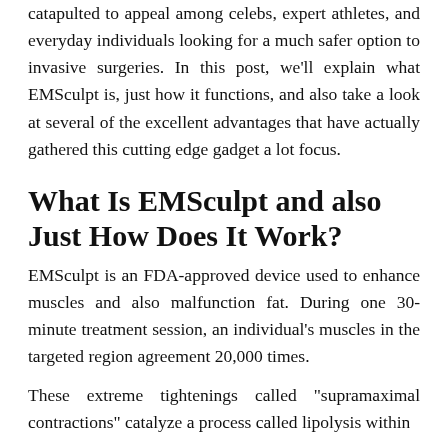catapulted to appeal among celebs, expert athletes, and everyday individuals looking for a much safer option to invasive surgeries. In this post, we'll explain what EMSculpt is, just how it functions, and also take a look at several of the excellent advantages that have actually gathered this cutting edge gadget a lot focus.
What Is EMSculpt and also Just How Does It Work?
EMSculpt is an FDA-approved device used to enhance muscles and also malfunction fat. During one 30-minute treatment session, an individual's muscles in the targeted region agreement 20,000 times.
These extreme tightenings called "supramaximal contractions" catalyze a process called lipolysis within